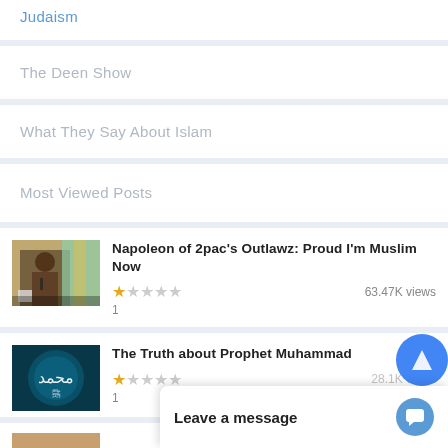Judaism
The Deen Show
What They Say About Islam
Most Viewed Posts
[Figure (photo): Thumbnail of a man speaking at a microphone with colorful background]
Napoleon of 2pac's Outlawz: Proud I'm Muslim Now
63.47K views
[Figure (photo): Dark teal background with Arabic calligraphy in white]
The Truth about Prophet Muhammad
28.1K views
Leave a message